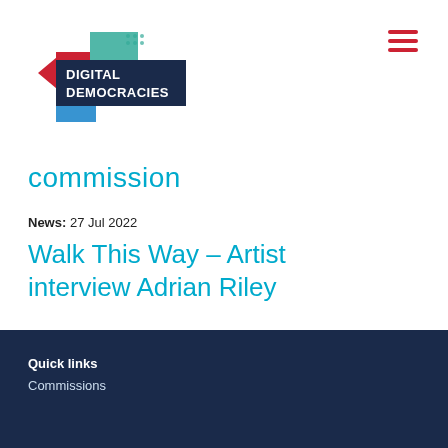[Figure (logo): Digital Democracies logo with colorful geometric shapes and white text on dark navy background]
commission
News: 27 Jul 2022
Walk This Way – Artist interview Adrian Riley
Quick links
Commissions